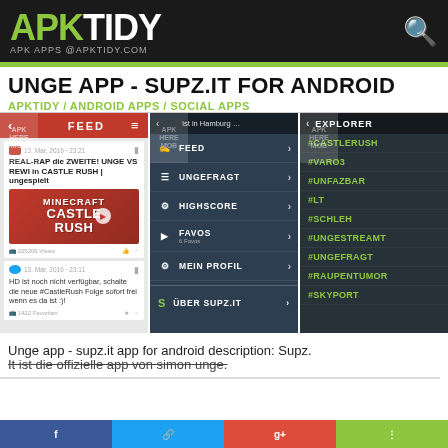APKTIDY — APK APPS @APKTIDY.COM
UNGE APP - SUPZ.IT FOR ANDROID
APKTIDY / ANDROID APPS / SOCIAL APPS
[Figure (screenshot): Three Android app screenshots: Feed screen showing Minecraft Castle Rush content, navigation menu with FEED/UNGEFRAGT/HIGHSCORE/FAVOS/MEIN PROFIL/ÜBER SUPZ.IT items, and Explorer screen with hashtag list]
Unge app - supz.it app for android description: Supz.
It ist die offizielle app von simon unge.